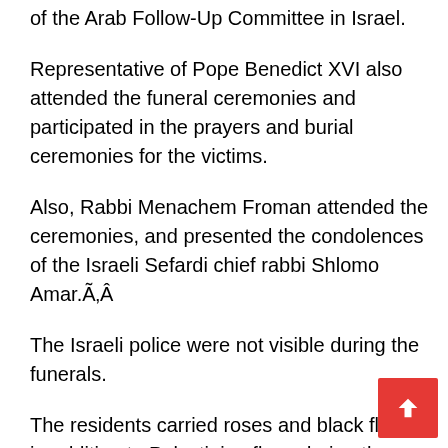of the Arab Follow-Up Committee in Israel.
Representative of Pope Benedict XVI also attended the funeral ceremonies and participated in the prayers and burial ceremonies for the victims.
Also, Rabbi Menachem Froman attended the ceremonies, and presented the condolences of the Israeli Sefardi chief rabbi Shlomo Amar.Ã‚Â
The Israeli police were not visible during the funerals.
The residents carried roses and black flags in addition to Palestinian flags during the burial ceremonies.